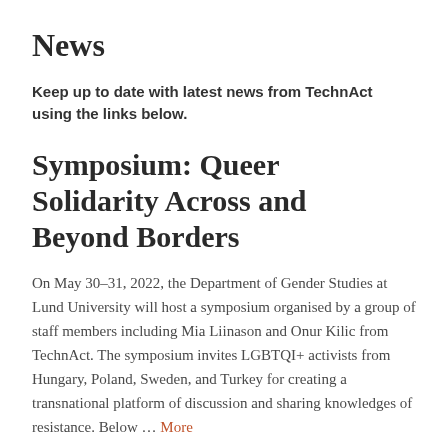News
Keep up to date with latest news from TechnAct using the links below.
Symposium: Queer Solidarity Across and Beyond Borders
On May 30–31, 2022, the Department of Gender Studies at Lund University will host a symposium organised by a group of staff members including Mia Liinason and Onur Kilic from TechnAct. The symposium invites LGBTQI+ activists from Hungary, Poland, Sweden, and Turkey for creating a transnational platform of discussion and sharing knowledges of resistance. Below … More